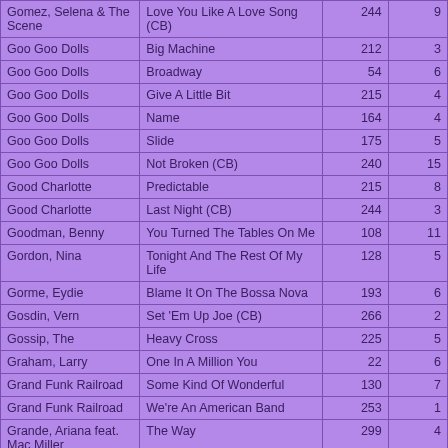| Gomez, Selena & The Scene | Love You Like A Love Song (CB) | 244 | 9 |
| Goo Goo Dolls | Big Machine | 212 | 3 |
| Goo Goo Dolls | Broadway | 54 | 6 |
| Goo Goo Dolls | Give A Little Bit | 215 | 4 |
| Goo Goo Dolls | Name | 164 | 4 |
| Goo Goo Dolls | Slide | 175 | 5 |
| Goo Goo Dolls | Not Broken (CB) | 240 | 15 |
| Good Charlotte | Predictable | 215 | 8 |
| Good Charlotte | Last Night (CB) | 244 | 3 |
| Goodman, Benny | You Turned The Tables On Me | 108 | 11 |
| Gordon, Nina | Tonight And The Rest Of My Life | 128 | 5 |
| Gorme, Eydie | Blame It On The Bossa Nova | 193 | 6 |
| Gosdin, Vern | Set 'Em Up Joe (CB) | 266 | 2 |
| Gossip, The | Heavy Cross | 225 | 5 |
| Graham, Larry | One In A Million You | 22 | 6 |
| Grand Funk Railroad | Some Kind Of Wonderful | 130 | 7 |
| Grand Funk Railroad | We're An American Band | 253 | 1 |
| Grande, Ariana feat. Mac Miller | The Way | 299 | 4 |
| Grant, Amy | Baby Baby | 58 | 6 |
| Grant, Amy | Lucky One | 63 | 11 |